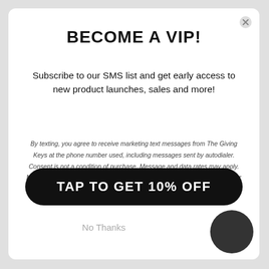BECOME A VIP!
Subscribe to our SMS list and get early access to new product launches, sales and more!
By texting, you agree to receive marketing text messages from The Giving Keys at the phone number used, including messages sent by autodialer. Consent is not a condition of purchase. Message and data rates may apply. Message frequency varies. Reply HELP for help or STOP to cancel. View our Privacy Policy and Terms of Service.
TAP TO GET 10% OFF
No Thanks